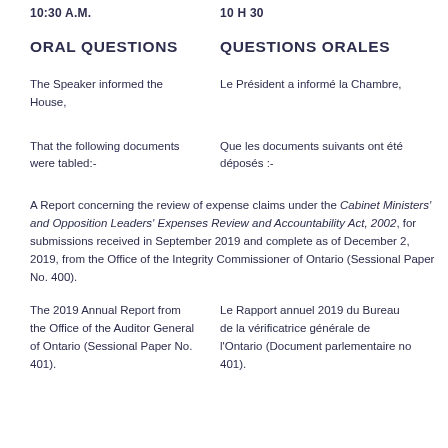10:30 A.M.
10 H 30
ORAL QUESTIONS
QUESTIONS ORALES
The Speaker informed the House,
Le Président a informé la Chambre,
That the following documents were tabled:-
Que les documents suivants ont été déposés :-
A Report concerning the review of expense claims under the Cabinet Ministers' and Opposition Leaders' Expenses Review and Accountability Act, 2002, for submissions received in September 2019 and complete as of December 2, 2019, from the Office of the Integrity Commissioner of Ontario (Sessional Paper No. 400).
The 2019 Annual Report from the Office of the Auditor General of Ontario (Sessional Paper No. 401).
Le Rapport annuel 2019 du Bureau de la vérificatrice générale de l'Ontario (Document parlementaire no 401).